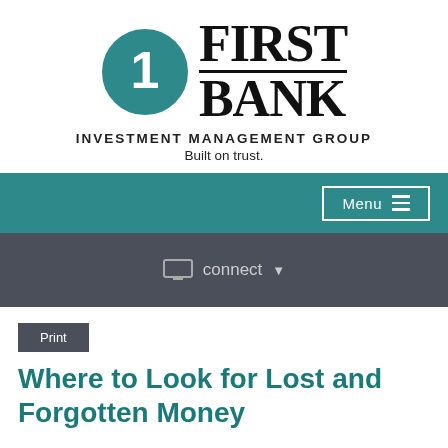[Figure (logo): First Bank Investment Management Group logo with teal circular icon containing number 1, bold serif FIRST BANK text with underline, INVESTMENT MANAGEMENT GROUP subtitle, and Built on trust. tagline]
Menu
connect
Print
Where to Look for Lost and Forgotten Money